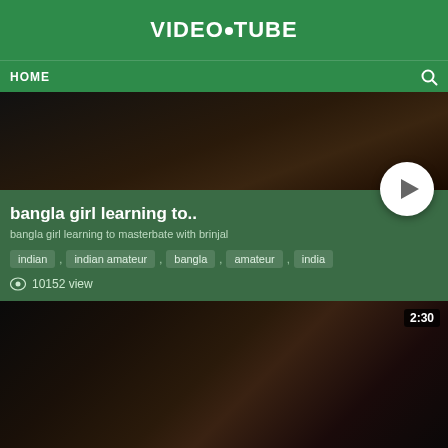VIDEO•TUBE
HOME
[Figure (screenshot): Blurred dark video thumbnail with play button overlay]
bangla girl learning to..
bangla girl learning to masterbate with brinjal
indian , indian amateur , bangla , amateur , india
10152 view
[Figure (screenshot): Dark video thumbnail showing persons, duration badge 2:30]